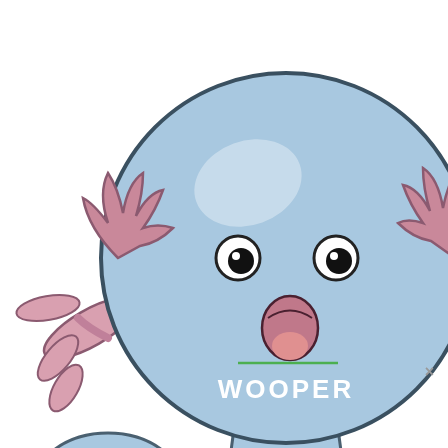[Figure (illustration): Close-up illustration of Wooper, a blue axolotl-like Pokémon with pink branch-like gills on its head, small black eyes, an open mouth with a pink tongue, and blue/dark stripe markings on its neck/body. The character is shown from the torso up against a white background. A small green horizontal line and white bold text 'WOOPER' appear overlaid on the image.]
×